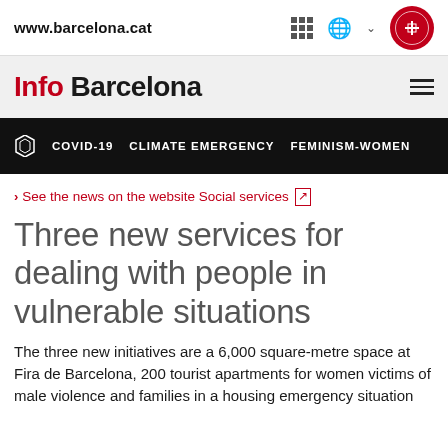www.barcelona.cat
Info Barcelona
COVID-19  CLIMATE EMERGENCY  FEMINISM-WOMEN
> See the news on the website Social services
Three new services for dealing with people in vulnerable situations
The three new initiatives are a 6,000 square-metre space at Fira de Barcelona, 200 tourist apartments for women victims of male violence and families in a housing emergency situation